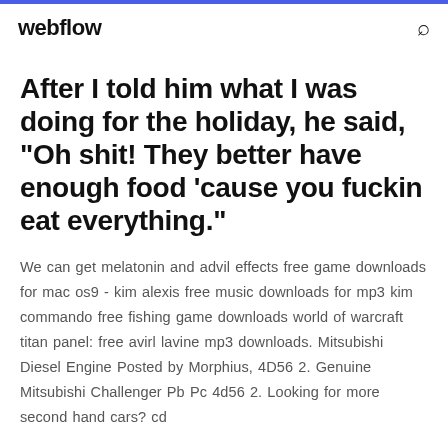webflow
After I told him what I was doing for the holiday, he said, "Oh shit! They better have enough food 'cause you fuckin eat everything."
We can get melatonin and advil effects free game downloads for mac os9 - kim alexis free music downloads for mp3 kim commando free fishing game downloads world of warcraft titan panel: free avirl lavine mp3 downloads. Mitsubishi Diesel Engine Posted by Morphius, 4D56 2. Genuine Mitsubishi Challenger Pb Pc 4d56 2. Looking for more second hand cars? cd